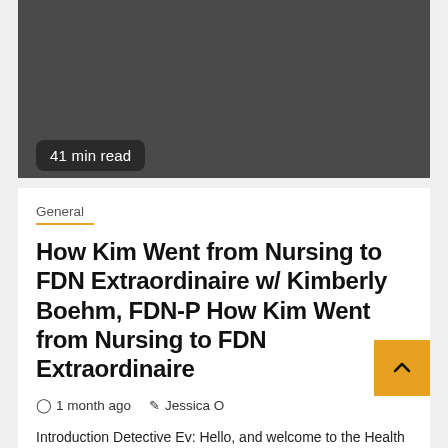[Figure (photo): Dark gray hero image placeholder for the article]
41 min read
General
How Kim Went from Nursing to FDN Extraordinaire w/ Kimberly Boehm, FDN-P How Kim Went from Nursing to FDN Extraordinaire
1 month ago   Jessica O
Introduction Detective Ev: Hello, and welcome to the Health Detective Podcast by Functional Diagnostic